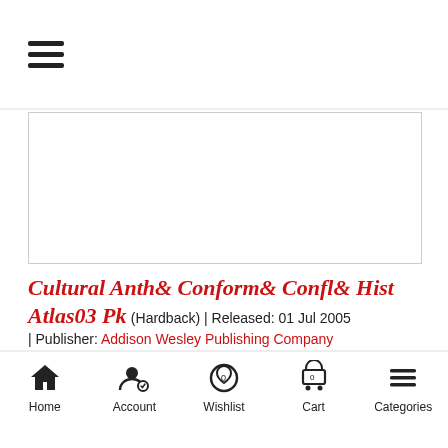☰ (hamburger menu)
[Figure (other): Book cover image placeholder (white box with border)]
Cultural Anth& Conform& Confl& Hist Atlas03 Pk
(Hardback) | Released: 01 Jul 2005
| Publisher: Addison Wesley Publishing Company
| Publisher Imprint: Addison Wesley Publishing Company
★ ★ ★ ★ ★ | Write a Review
Rs.12,019
Home | Account | Wishlist | Cart | Categories